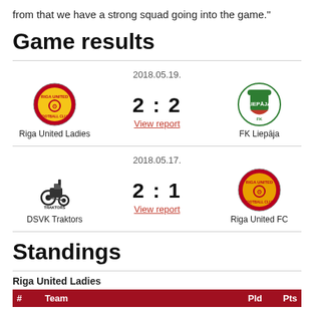from that we have a strong squad going into the game.”
Game results
2018.05.19. | Riga United Ladies 2 : 2 FK Liepāja | View report
2018.05.17. | DSVK Traktors 2 : 1 Riga United FC | View report
Standings
Riga United Ladies
| # | Team | Pld | Pts |
| --- | --- | --- | --- |